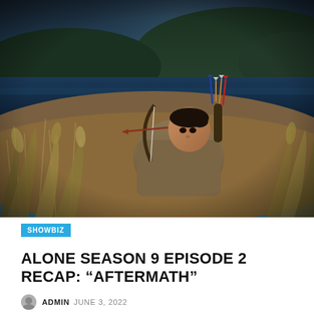[Figure (photo): A young Asian man crouching in tall golden grasses, aiming a bow and arrow. He is wearing a brown/khaki jacket and has arrows in a quiver on his back. The background shows a dark lake and green hills. Dramatic outdoor lighting.]
SHOWBIZ
ALONE SEASON 9 EPISODE 2 RECAP: “AFTERMATH”
ADMIN  JUNE 3, 2022